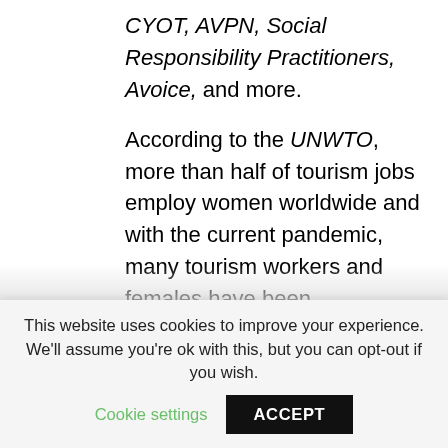CYOT, AVPN, Social Responsibility Practitioners, Avoice, and more.
According to the UNWTO, more than half of tourism jobs employ women worldwide and with the current pandemic, many tourism workers and females have been
This website uses cookies to improve your experience. We'll assume you're ok with this, but you can opt-out if you wish. Cookie settings ACCEPT